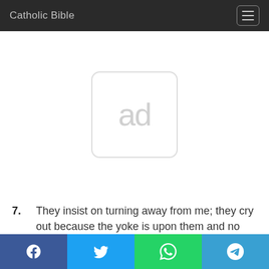Catholic Bible
[Figure (other): Advertisement placeholder box with text 'ad']
7. They insist on turning away from me; they cry out because the yoke is upon them and no one lifts it.
8. How can I give you up, Ephraim? Can I
Facebook Twitter WhatsApp Telegram social share buttons